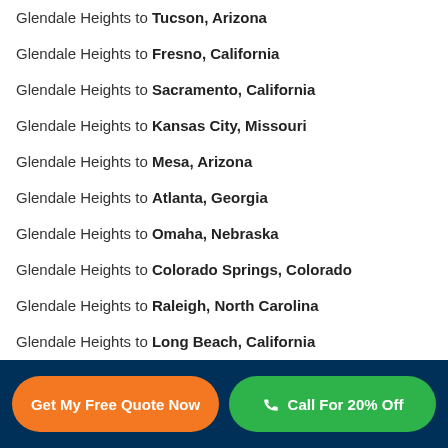Glendale Heights to Tucson, Arizona
Glendale Heights to Fresno, California
Glendale Heights to Sacramento, California
Glendale Heights to Kansas City, Missouri
Glendale Heights to Mesa, Arizona
Glendale Heights to Atlanta, Georgia
Glendale Heights to Omaha, Nebraska
Glendale Heights to Colorado Springs, Colorado
Glendale Heights to Raleigh, North Carolina
Glendale Heights to Long Beach, California
Glendale Heights to Virginia Beach, Virginia
Glendale Heights to Miami, Florida
Glendale Heights to Oakland, California
Get My Free Quote Now | Call For 20% Off